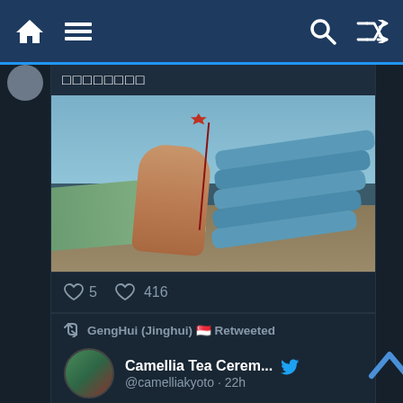Navigation bar with home, menu, search, and shuffle icons
[Figure (screenshot): Username bar with avatar and Japanese characters (squares indicating missing glyphs)]
[Figure (photo): Hand holding a red maple leaf stem with blue canoes/kayaks stacked in background near a lake]
5  416 (reply and heart engagement counts)
GengHui (Jinghui) 🇸🇬 Retweeted
Camellia Tea Cerem... @camelliakyoto · 22h
Replying to @camelliakyoto
At Shōrin-in the rope was bound to Mimoi-hashi (橋 the 'Bridge of Early...